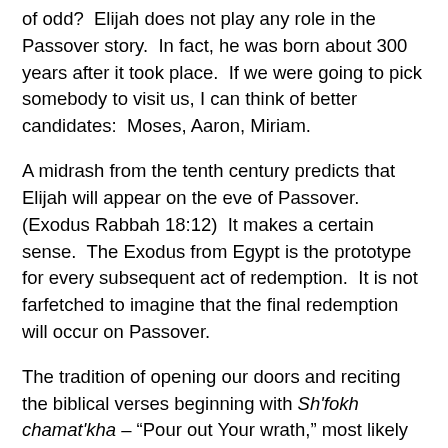of odd?  Elijah does not play any role in the Passover story.  In fact, he was born about 300 years after it took place.  If we were going to pick somebody to visit us, I can think of better candidates:  Moses, Aaron, Miriam.
A midrash from the tenth century predicts that Elijah will appear on the eve of Passover.  (Exodus Rabbah 18:12)  It makes a certain sense.  The Exodus from Egypt is the prototype for every subsequent act of redemption.  It is not farfetched to imagine that the final redemption will occur on Passover.
The tradition of opening our doors and reciting the biblical verses beginning with Sh'fokh chamat'kha – "Pour out Your wrath," most likely began in the Middle Ages, in the wake of the Crusades.  This is how the tradition goes:  After we have finished eating, we open the door and recite